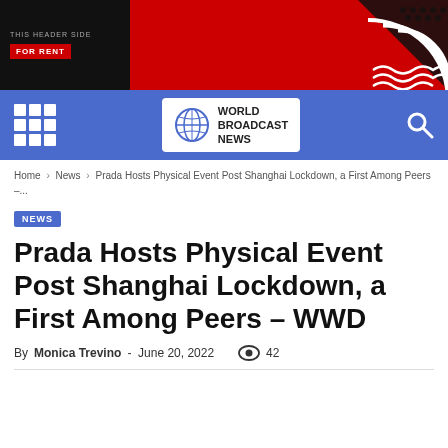[Figure (other): Red and black advertisement banner reading 'This space is for Rent' with wave decorations and geometric patterns]
[Figure (logo): World Broadcast News navigation bar with blue background, grid menu icon, globe logo, and search icon]
Home › News › Prada Hosts Physical Event Post Shanghai Lockdown, a First Among Peers –...
NEWS
Prada Hosts Physical Event Post Shanghai Lockdown, a First Among Peers – WWD
By Monica Trevino - June 20, 2022  42